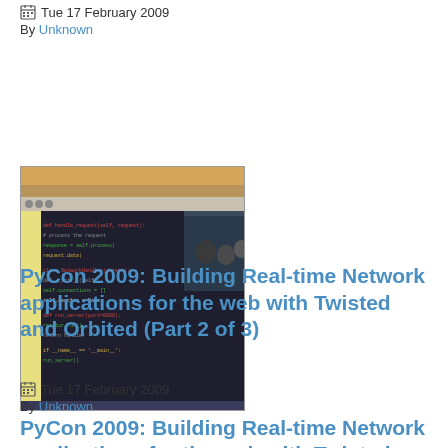Tue 17 February 2009
By Unknown
[Figure (screenshot): Screenshot of a code editor or IDE with Python code, showing colored syntax highlighting with yellow, red, and green text on a dark background, and a small inset video/image of people in a conference room in the upper right corner.]
PyCon 2009: Building Real-time Network applications for the web with Twisted and Orbited (Part 2 of 3)
Tue 17 February 2009
By Unknown